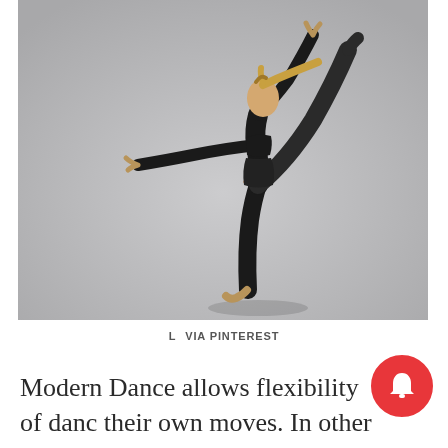[Figure (photo): A female dancer in black athletic wear performing a high kick pose against a gray background, with one leg raised high above her head and arms extended, blonde hair in a ponytail]
L  VIA PINTEREST
Modern Dance allows flexibility of danc their own moves. In other words, it